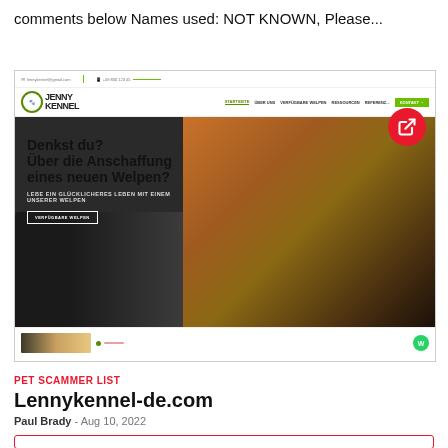comments below Names used: NOT KNOWN, Please...
[Figure (screenshot): Screenshot of lennykennel-de.com website showing a dog kennel homepage with a puppy hero image, German text 'Denkst du? Über die Anschaffung eines neuen Welpen?' and navigation menu. A red circle external link button overlays the top right of the screenshot.]
PET SCAMMER LIST
Lennykennel-de.com
Paul Brady - Aug 10, 2022